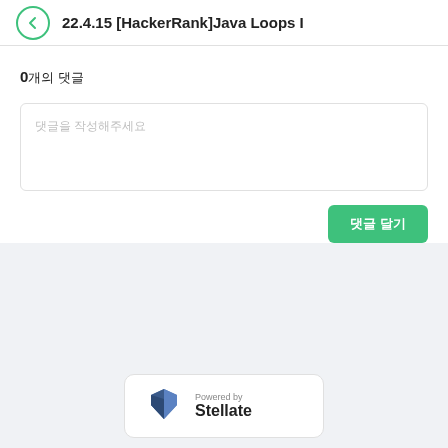22.4.15 [HackerRank]Java Loops I
0개의 댓글
댓글을 작성해주세요
댓글 달기
[Figure (logo): Powered by Stellate logo badge]